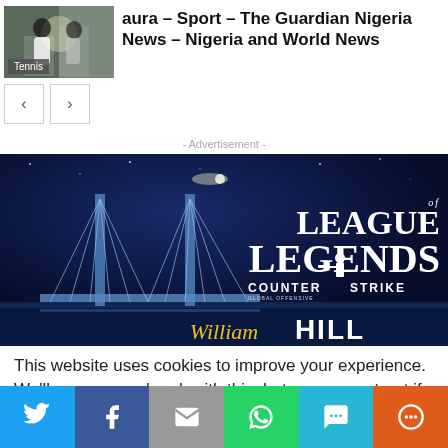[Figure (photo): Tennis article thumbnail showing players, with 'Tennis' label overlay]
aura – Sport – The Guardian Nigeria News – Nigeria and World News
[Figure (other): Navigation arrows previous/next]
- Advertisement -
[Figure (other): Advertisement banner for William Hill featuring League of Legends and Counter Strike logos with a bridge image]
This website uses cookies to improve your experience. We'll assume you're ok with this, but you can opt-out if you wish.
[Figure (other): Social share bar with Twitter, Facebook, Email, WhatsApp, SMS, and More buttons]